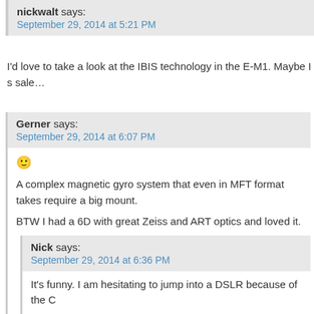nickwalt says: September 29, 2014 at 5:21 PM
I'd love to take a look at the IBIS technology in the E-M1. Maybe I s sale…
Gerner says: September 29, 2014 at 6:07 PM
🙂 A complex magnetic gyro system that even in MFT format takes require a big mount. BTW I had a 6D with great Zeiss and ART optics and loved it.
Nick says: September 29, 2014 at 6:36 PM
It's funny. I am hesitating to jump into a DSLR because of the C